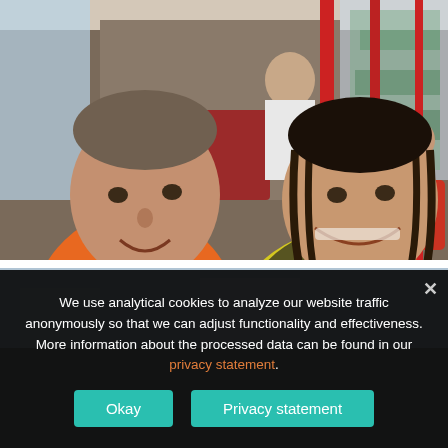[Figure (photo): Two people taking a selfie on a train/tram. Man on the left wearing an orange top, woman on the right wearing a yellow top with wet hair. Red poles and other passengers visible in the background.]
[Figure (photo): Partially visible second photo showing what appears to be an outdoor/urban scene, mostly obscured by the cookie consent banner.]
We use analytical cookies to analyze our website traffic anonymously so that we can adjust functionality and effectiveness. More information about the processed data can be found in our privacy statement.